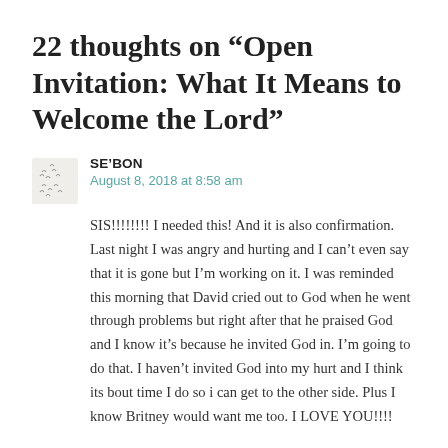22 thoughts on “Open Invitation: What It Means to Welcome the Lord”
SE’BON
August 8, 2018 at 8:58 am
SIS!!!!!!!! I needed this! And it is also confirmation. Last night I was angry and hurting and I can’t even say that it is gone but I’m working on it. I was reminded this morning that David cried out to God when he went through problems but right after that he praised God and I know it’s because he invited God in. I’m going to do that. I haven’t invited God into my hurt and I think its bout time I do so i can get to the other side. Plus I know Britney would want me too. I LOVE YOU!!!!